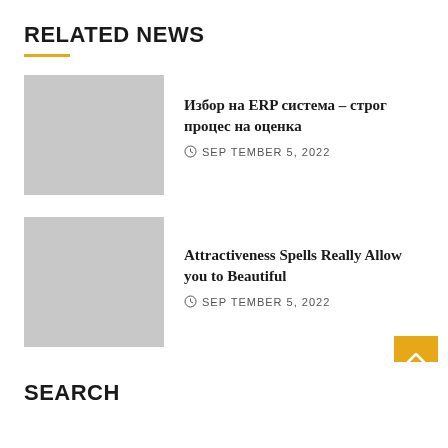RELATED NEWS
[Figure (photo): Gray placeholder thumbnail image for first news article]
Избор на ERP система – строг процес на оценка
SEPTEMBER 5, 2022
[Figure (photo): Gray placeholder thumbnail image for second news article]
Attractiveness Spells Really Allow you to Beautiful
SEPTEMBER 5, 2022
SEARCH